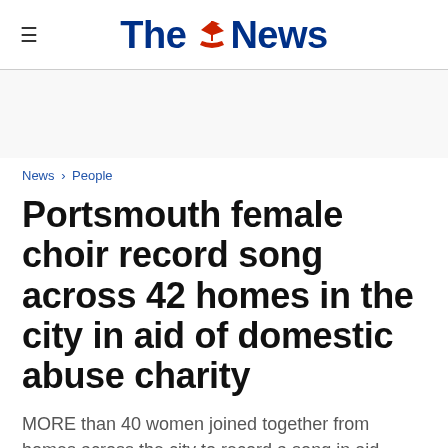The News
News > People
Portsmouth female choir record song across 42 homes in the city in aid of domestic abuse charity
MORE than 40 women joined together from homes across the city to record a song in aid